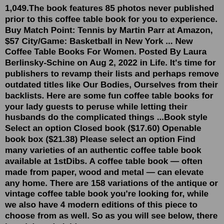1,049.The book features 85 photos never published prior to this coffee table book for you to experience. Buy Match Point: Tennis by Martin Parr at Amazon, $57 City/Game: Basketball in New York ... New Coffee Table Books For Women. Posted By Laura Berlinsky-Schine on Aug 2, 2022 in Life. It's time for publishers to revamp their lists and perhaps remove outdated titles like Our Bodies, Ourselves from their backlists. Here are some fun coffee table books for your lady guests to peruse while letting their husbands do the complicated things ...Book style Select an option Closed book ($17.60) Openable book box ($21.38) Please select an option Find many varieties of an authentic coffee table book available at 1stDibs. A coffee table book — often made from paper, wood and metal — can elevate any home. There are 158 variations of the antique or vintage coffee table book you're looking for, while we also have 4 modern editions of this piece to choose from as well. So as you will see below, there is a rich and vivid